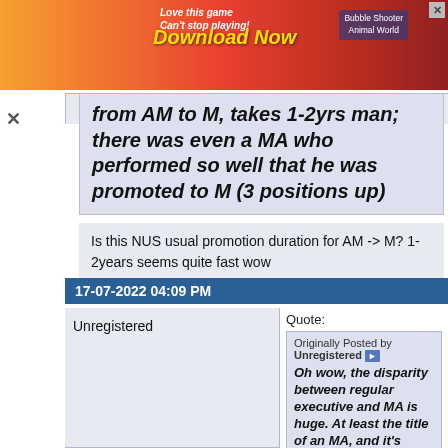[Figure (screenshot): Advertisement banner: colorful game ad with 'Love this game Can't stop playing! Download Now' text and Bubble Shooter Animal World branding]
from AM to M, takes 1-2yrs man; there was even a MA who performed so well that he was promoted to M (3 positions up)
Is this NUS usual promotion duration for AM -> M? 1-2years seems quite fast wow
17-07-2022 04:09 PM
Unregistered
Quote:
Originally Posted by Unregistered
Oh wow, the disparity between regular executive and MA is huge. At least the title of an MA, and it's salary, is more justified this manner.
Yah, thats why for fresh graduates, go into the MA is safer n better than going direct as executive, the progression is damp slow for normal entry.